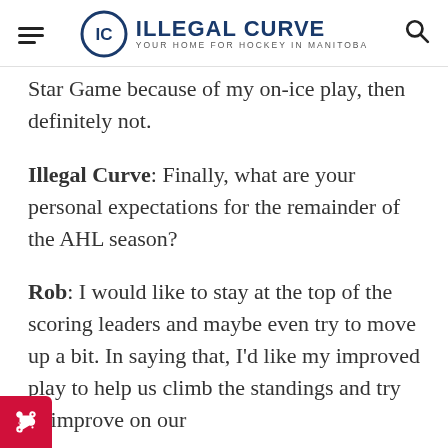ILLEGAL CURVE — YOUR HOME FOR HOCKEY IN MANITOBA
Star Game because of my on-ice play, then definitely not.
Illegal Curve: Finally, what are your personal expectations for the remainder of the AHL season?
Rob: I would like to stay at the top of the scoring leaders and maybe even try to move up a bit. In saying that, I'd like my improved play to help us climb the standings and try to improve on our